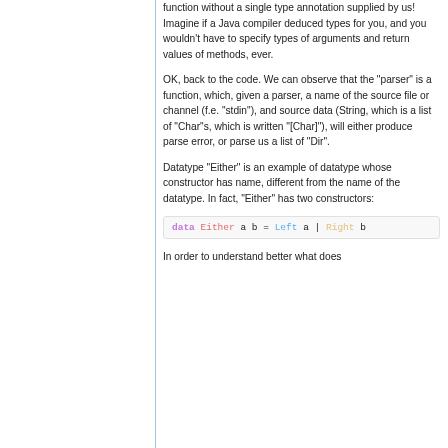function without a single type annotation supplied by us! Imagine if a Java compiler deduced types for you, and you wouldn't have to specify types of arguments and return values of methods, ever.
OK, back to the code. We can observe that the "parser" is a function, which, given a parser, a name of the source file or channel (f.e. "stdin"), and source data (String, which is a list of "Char"s, which is written "[Char]"), will either produce parse error, or parse us a list of "Dir".
Datatype "Either" is an example of datatype whose constructor has name, different from the name of the datatype. In fact, "Either" has two constructors:
[Figure (screenshot): Code block: data Either a b = Left a | Right b]
In order to understand better what does